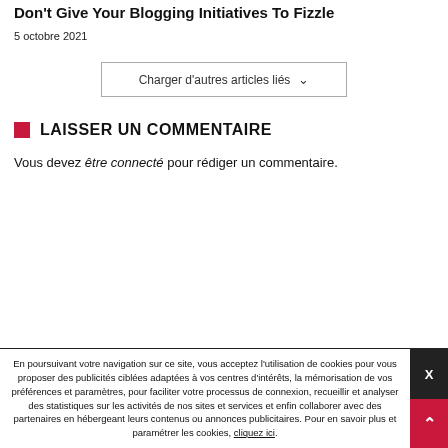Don't Give Your Blogging Initiatives To Fizzle
5 octobre 2021
Charger d'autres articles liés ∨
LAISSER UN COMMENTAIRE
Vous devez être connecté pour rédiger un commentaire.
En poursuivant votre navigation sur ce site, vous acceptez l'utilisation de cookies pour vous proposer des publicités ciblées adaptées à vos centres d'intérêts, la mémorisation de vos préférences et paramètres, pour faciliter votre processus de connexion, recueillir et analyser des statistiques sur les activités de nos sites et services et enfin collaborer avec des partenaires en hébergeant leurs contenus ou annonces publicitaires. Pour en savoir plus et paramétrer les cookies, cliquez ici.